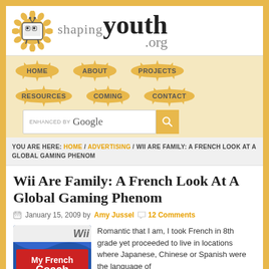[Figure (logo): Shaping Youth .org logo with sunflower character and bold text]
[Figure (infographic): Navigation menu with sunflower-shaped buttons: HOME, ABOUT, PROJECTS, RESOURCES, COMING, CONTACT]
[Figure (screenshot): Search bar with 'enhanced by Google' text and yellow search button]
YOU ARE HERE: HOME / ADVERTISING / WII ARE FAMILY: A FRENCH LOOK AT A GLOBAL GAMING PHENOM
Wii Are Family: A French Look At A Global Gaming Phenom
January 15, 2009 by Amy Jussel  12 Comments
[Figure (photo): My French Coach Wii game box cover]
Romantic that I am, I took French in 8th grade yet proceeded to live in locations where Japanese, Chinese or Spanish were the language of